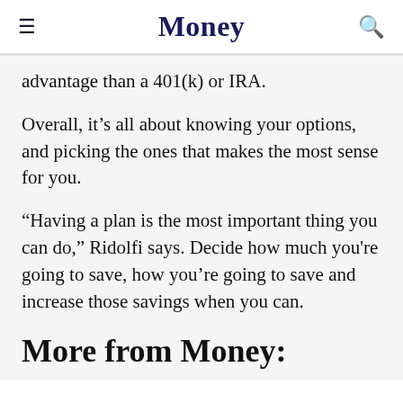Money
advantage than a 401(k) or IRA.
Overall, it’s all about knowing your options, and picking the ones that makes the most sense for you.
“Having a plan is the most important thing you can do,” Ridolfi says. Decide how much you're going to save, how you’re going to save and increase those savings when you can.
More from Money: